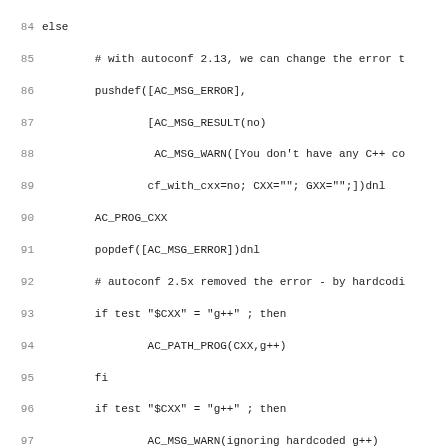[Figure (screenshot): Source code listing (shell/autoconf script) showing lines 84-115 with line numbers on the left and code on the right in monospace font.]